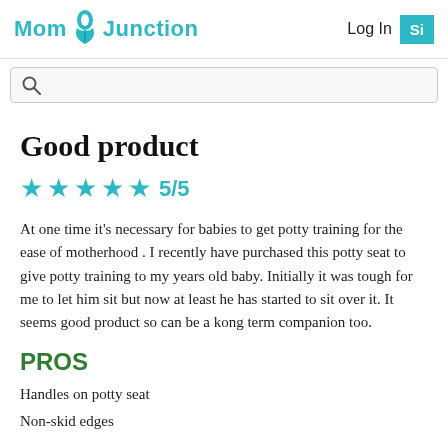MomJunction | Log In | Si
Good product
★★★★★ 5/5
At one time it's necessary for babies to get potty training for the ease of motherhood . I recently have purchased this potty seat to give potty training to my years old baby. Initially it was tough for me to let him sit but now at least he has started to sit over it. It seems good product so can be a kong term companion too.
PROS
Handles on potty seat
Non-skid edges